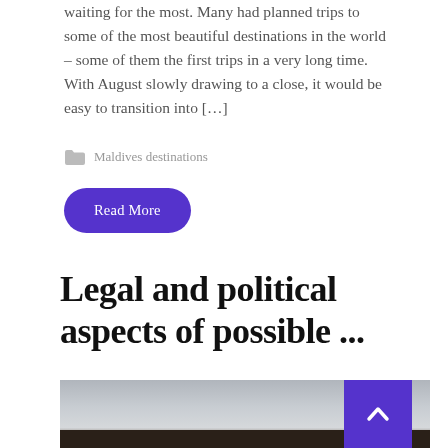waiting for the most. Many had planned trips to some of the most beautiful destinations in the world – some of them the first trips in a very long time. With August slowly drawing to a close, it would be easy to transition into […]
Maldives destinations
Read More
Legal and political aspects of possible ...
[Figure (photo): Airport or industrial landscape silhouette under overcast grey sky, with a purple scroll-to-top button overlay in the bottom right corner.]